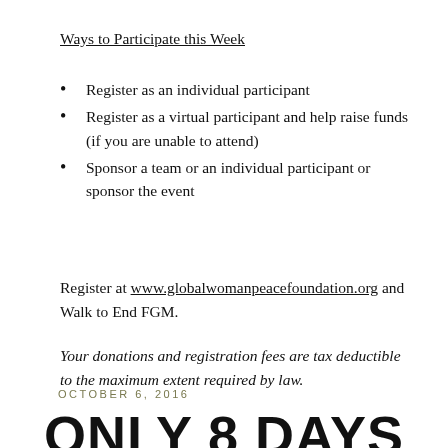Ways to Participate this Week
Register as an individual participant
Register as a virtual participant and help raise funds (if you are unable to attend)
Sponsor a team or an individual participant or sponsor the event
Register at www.globalwomanpeacefoundation.org and Walk to End FGM.
Your donations and registration fees are tax deductible to the maximum extent required by law.
OCTOBER 6, 2016
ONLY 8 DAYS